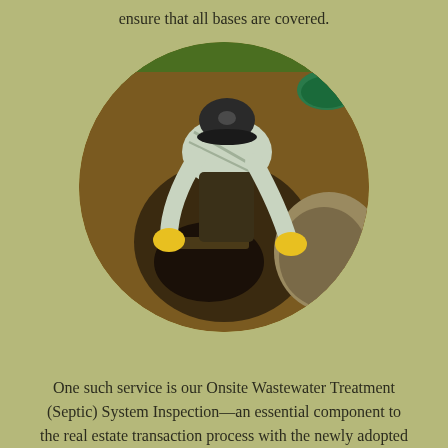ensure that all bases are covered.
[Figure (photo): A worker wearing yellow gloves and a black cap bending over to inspect or open a septic tank lid, surrounded by exposed soil and excavated earth. A green circular cap is visible in the upper right.]
One such service is our Onsite Wastewater Treatment (Septic) System Inspection—an essential component to the real estate transaction process with the newly adopted